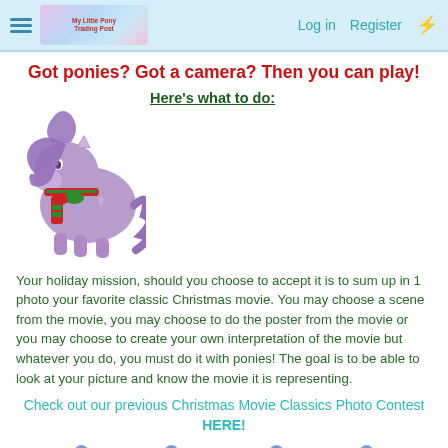Log in  Register
Got ponies? Got a camera? Then you can play!
[Figure (illustration): Cartoon purple My Little Pony wearing a red and green striped Christmas scarf]
Here's what to do:
Your holiday mission, should you choose to accept it is to sum up in 1 photo your favorite classic Christmas movie. You may choose a scene from the movie, you may choose to do the poster from the movie or you may choose to create your own interpretation of the movie but whatever you do, you must do it with ponies! The goal is to be able to look at your picture and know the movie it is representing.
Check out our previous Christmas Movie Classics Photo Contest HERE!
😱rnamentred:😱rnamentgreen:😱rnamentred:😱rnamentgreen:😱rnamentred:😱rnamentgreen:😱rnamentred: